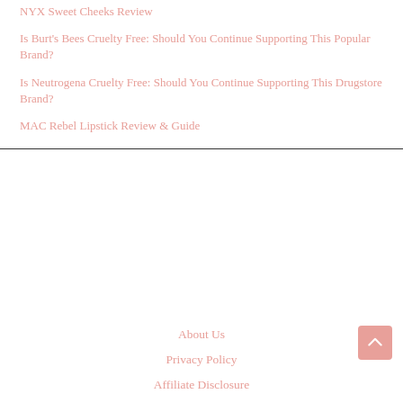NYX Sweet Cheeks Review
Is Burt's Bees Cruelty Free: Should You Continue Supporting This Popular Brand?
Is Neutrogena Cruelty Free: Should You Continue Supporting This Drugstore Brand?
MAC Rebel Lipstick Review & Guide
About Us
Privacy Policy
Affiliate Disclosure